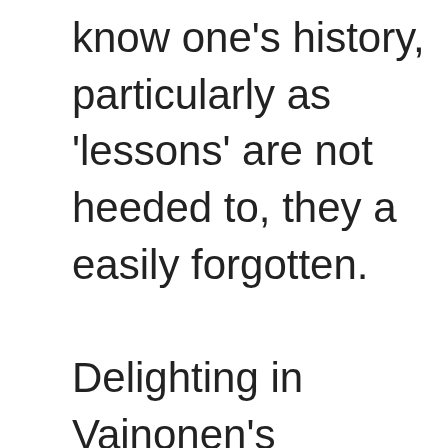know one's history, particularly as 'lessons' are not heeded to, they are easily forgotten.

Delighting in Vainonen's rhythmically dance combinations - his nickname Vaska-the syncopator - Ratmansky attempted to make maximum use of preserved fragments in his new ba... Interwoven into its fabric are the...